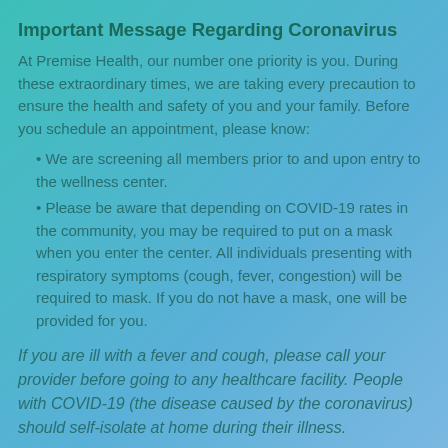Important Message Regarding Coronavirus
At Premise Health, our number one priority is you. During these extraordinary times, we are taking every precaution to ensure the health and safety of you and your family. Before you schedule an appointment, please know:
We are screening all members prior to and upon entry to the wellness center.
Please be aware that depending on COVID-19 rates in the community, you may be required to put on a mask when you enter the center. All individuals presenting with respiratory symptoms (cough, fever, congestion) will be required to mask. If you do not have a mask, one will be provided for you.
If you are ill with a fever and cough, please call your provider before going to any healthcare facility. People with COVID-19 (the disease caused by the coronavirus) should self-isolate at home during their illness.
For more information about coronavirus, COVID-19...